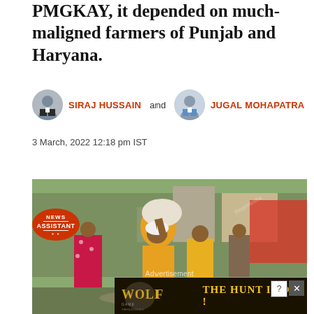PMGKAY, it depended on much-maligned farmers of Punjab and Haryana.
SIRAJ HUSSAIN and JUGAL MOHAPATRA
3 March, 2022 12:18 pm IST
[Figure (photo): A man carrying a large sack on his head, women in colorful clothing nearby, outdoor market or distribution scene. News Assistant badge overlay. Advertisement banner at bottom showing Wolf game with 'THE HUNT IS ON!' text.]